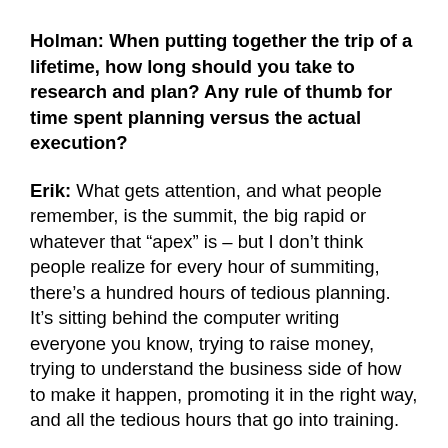Holman: When putting together the trip of a lifetime, how long should you take to research and plan? Any rule of thumb for time spent planning versus the actual execution?
Erik: What gets attention, and what people remember, is the summit, the big rapid or whatever that “apex” is – but I don’t think people realize for every hour of summiting, there’s a hundred hours of tedious planning. It’s sitting behind the computer writing everyone you know, trying to raise money, trying to understand the business side of how to make it happen, promoting it in the right way, and all the tedious hours that go into training.
Holman: When you call out the...